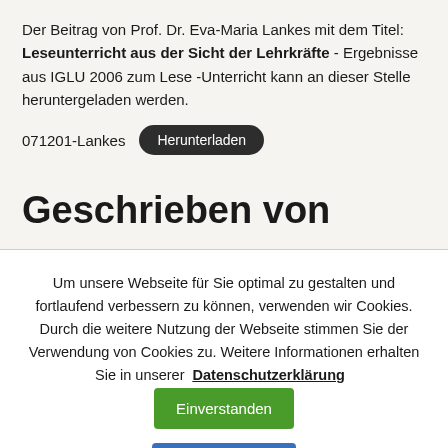Der Beitrag von Prof. Dr. Eva-Maria Lankes mit dem Titel: Leseunterricht aus der Sicht der Lehrkräfte - Ergebnisse aus IGLU 2006 zum Lese -Unterricht kann an dieser Stelle heruntergeladen werden.
071201-Lankes  Herunterladen
Geschrieben von
Um unsere Webseite für Sie optimal zu gestalten und fortlaufend verbessern zu können, verwenden wir Cookies. Durch die weitere Nutzung der Webseite stimmen Sie der Verwendung von Cookies zu. Weitere Informationen erhalten Sie in unserer  Datenschutzerklärung   Einverstanden
Ablehnen